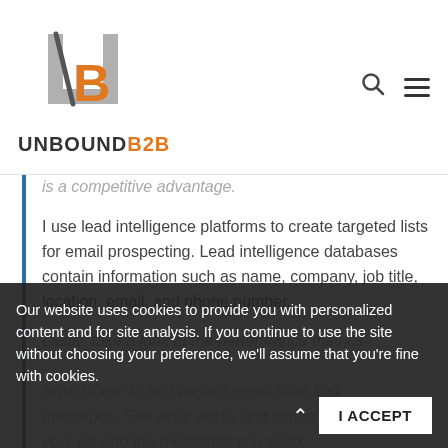UNBOUND B2B
is a competitive advantage.
I use lead intelligence platforms to create targeted lists for email prospecting. Lead intelligence databases contain information such as name, company, job title, location, email, and phone number.
Lastly, take a look at the performance metrics ... adjust them to test various email titles and messages. See what works and continue to your list and the messages you send.
Our website uses cookies to provide you with personalized content and for site analysis. If you continue to use the site without choosing your preference, we'll assume that you're fine with cookies.